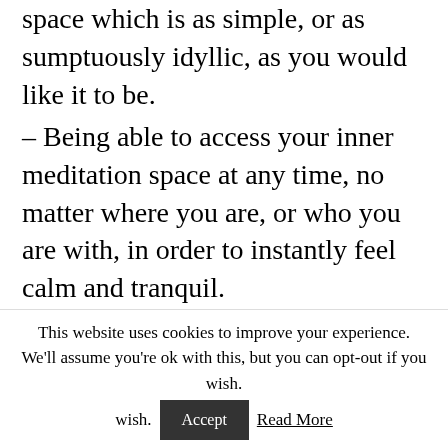space which is as simple, or as sumptuously idyllic, as you would like it to be.
– Being able to access your inner meditation space at any time, no matter where you are, or who you are with, in order to instantly feel calm and tranquil.
To create your inner meditation space, sit quietly and close your eyes, and then imagine that you are actually sitting in the most ideal environment that you can think of for meditation.
This website uses cookies to improve your experience. We'll assume you're ok with this, but you can opt-out if you wish. Accept Read More